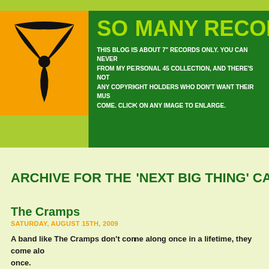[Figure (logo): Orange square with black abstract figure/record label logo]
SO MANY RECORDS
THIS BLOG IS ABOUT 7" RECORDS ONLY. YOU CAN NEVER FROM MY PERSONAL 45 COLLECTION, AND THERE'S NOT ANY COPYRIGHT HOLDERS WHO DON'T WANT THEIR MUS COME. CLICK ON ANY IMAGE TO ENLARGE.
ARCHIVE FOR THE 'NEXT BIG THING' CATEG
The Cramps
SATURDAY, AUGUST 15TH, 2009
A band like The Cramps don't come along once in a lifetime, they come alo once.